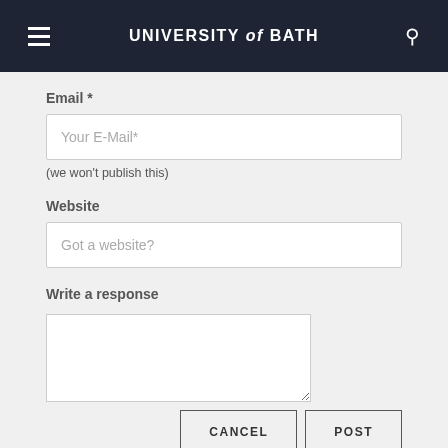UNIVERSITY of BATH
Email *
Your E-Mail*
(we won't publish this)
Website
Got a website?
Write a response
CANCEL
POST